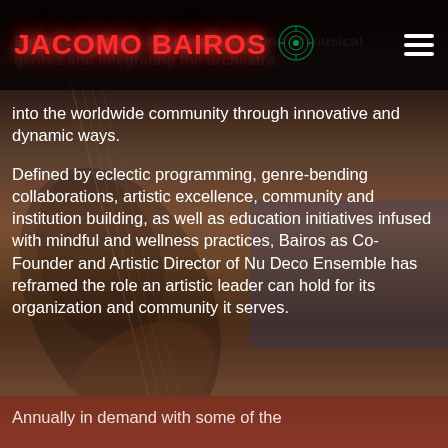JACOMO BAIROS
Bairos challenges the preconceptions of musical genres and integrating the orchestra into the worldwide community through innovative and dynamic ways.
Defined by eclectic programming, genre-bending collaborations, artistic excellence, community and institution building, as well as education initiatives infused with mindful and wellness practices, Bairos as Co-Founder and Artistic Director of Nu Deco Ensemble has reframed the role an artistic leader can hold for its organization and community it serves.
Annually in demand with some of the world's most celebrated institutions